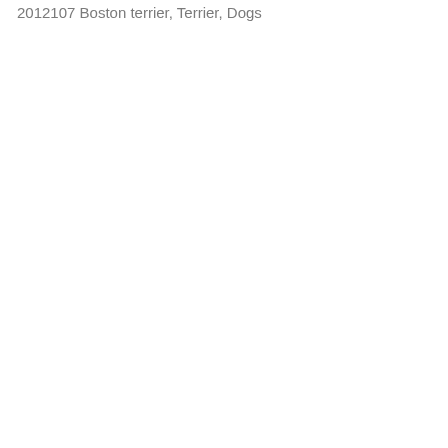2012107 Boston terrier, Terrier, Dogs